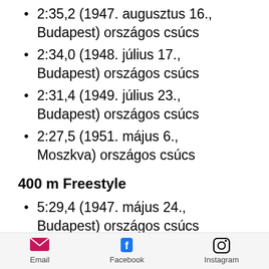2:35,2 (1947. augusztus 16., Budapest) országos csúcs
2:34,0 (1948. július 17., Budapest) országos csúcs
2:31,4 (1949. július 23., Budapest) országos csúcs
2:27,5 (1951. május 6., Moszkva) országos csúcs
400 m Freestyle
5:29,4 (1947. május 24., Budapest) országos csúcs
5:28,0 (1947. június 28.,
Email   Facebook   Instagram